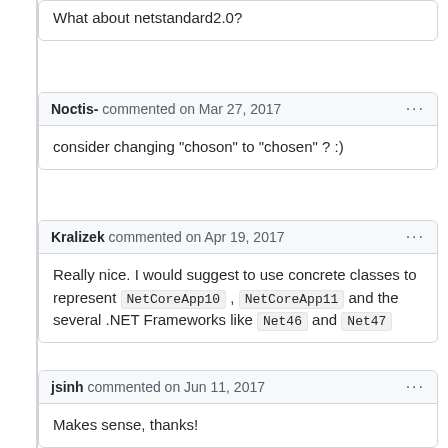What about netstandard2.0?
Noctis- commented on Mar 27, 2017
consider changing "choson" to "chosen" ? :)
Kralizek commented on Apr 19, 2017
Really nice. I would suggest to use concrete classes to represent NetCoreApp10 , NetCoreApp11 and the several .NET Frameworks like Net46 and Net47
jsinh commented on Jun 11, 2017
Makes sense, thanks!